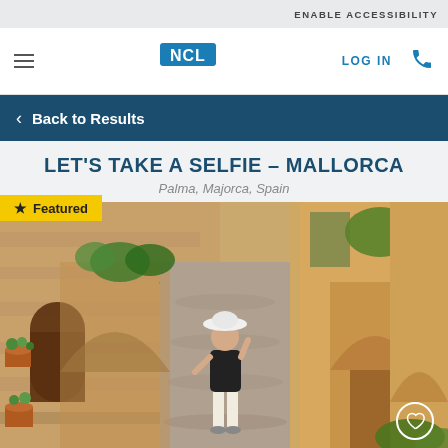ENABLE ACCESSIBILITY
[Figure (logo): NCL Norwegian Cruise Line logo with blue background and wave graphic]
LOG IN
Back to Results
LET'S TAKE A SELFIE – MALLORCA
Palma, Majorca, Spain
Featured
[Figure (photo): A woman with a white hat walking down a narrow cobblestone alley in Mallorca, Spain, flanked by old stone buildings with arched doorways, flower pots, and lush greenery. Warm golden light illuminates the scene.]